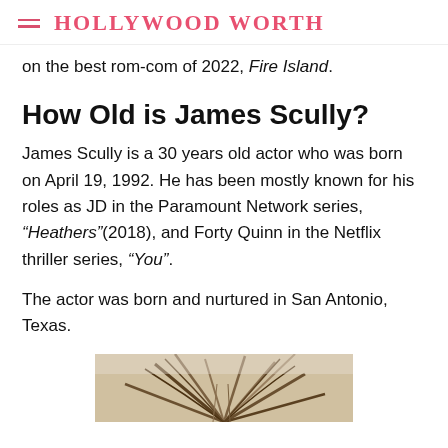HOLLYWOOD WORTH
on the best rom-com of 2022, Fire Island.
How Old is James Scully?
James Scully is a 30 years old actor who was born on April 19, 1992. He has been mostly known for his roles as JD in the Paramount Network series, “Heathers”(2018), and Forty Quinn in the Netflix thriller series, “You”.
The actor was born and nurtured in San Antonio, Texas.
[Figure (photo): Partial image of palm tree foliage at bottom of page]